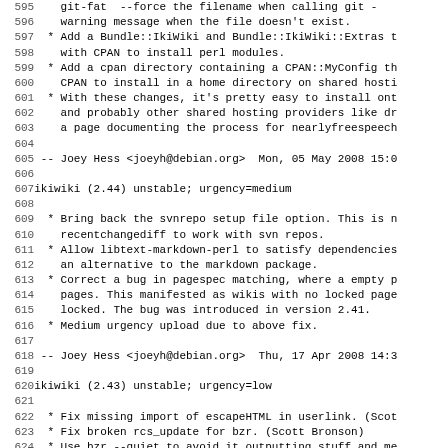Lines 595-627 of a Debian changelog for ikiwiki, showing versions 2.44 and 2.43 with bullet points and maintainer signatures.